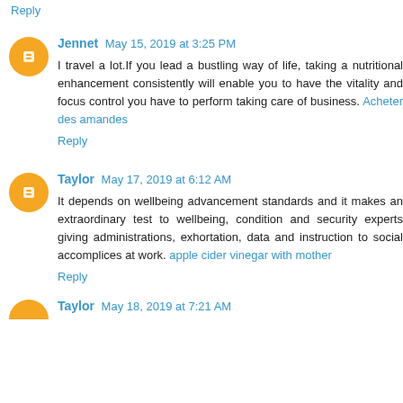Reply
Jennet  May 15, 2019 at 3:25 PM
I travel a lot.If you lead a bustling way of life, taking a nutritional enhancement consistently will enable you to have the vitality and focus control you have to perform taking care of business. Acheter des amandes
Reply
Taylor  May 17, 2019 at 6:12 AM
It depends on wellbeing advancement standards and it makes an extraordinary test to wellbeing, condition and security experts giving administrations, exhortation, data and instruction to social accomplices at work. apple cider vinegar with mother
Reply
Taylor  May 18, 2019 at 7:21 AM